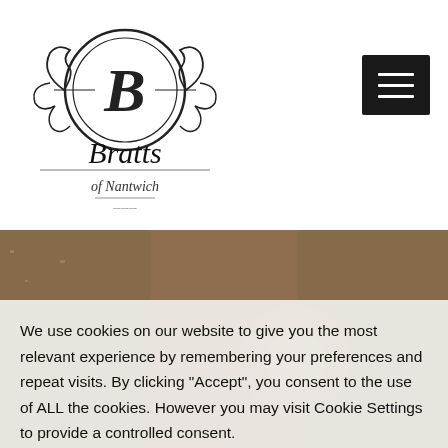[Figure (logo): Bratts of Nantwich logo — ornate circular crest with stylized B, decorative flourishes, and cursive text 'Bratts of Nantwich']
[Figure (other): Black hamburger/menu button in top right corner with three white horizontal lines on dark background]
[Figure (photo): Background photo partially visible — warm toned image, appears to show outdoor/nature scene with hay or grass, brownish tones]
We use cookies on our website to give you the most relevant experience by remembering your preferences and repeat visits. By clicking "Accept", you consent to the use of ALL the cookies. However you may visit Cookie Settings to provide a controlled consent.
Cookie settings
ACCEPT
Now that Summer has gone, we need to think ahead and a... ...able for autumn and winter. The cattle...